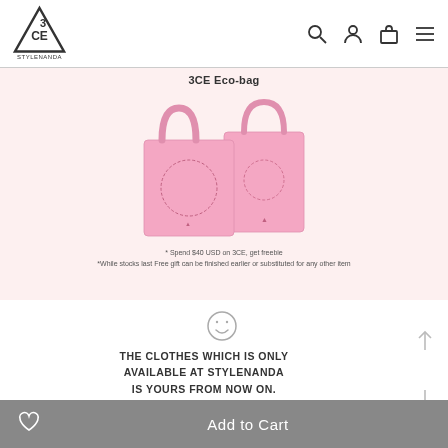3CE STYLENANDA - header with logo and navigation icons
[Figure (illustration): 3CE Eco-bag promotional banner on pink background showing two pink tote bags side by side]
3CE Eco-bag
* Spend $40 USD on 3CE, get freebie
*While stocks last Free gift can be finished earlier or substituted for any other item
[Figure (illustration): Smiley face icon (circle with two dot eyes and smile)]
THE CLOTHES WHICH IS ONLY AVAILABLE AT STYLENANDA IS YOURS FROM NOW ON. PLEASE TAKE GOOD CARE OF IT WITH YOUR LOVE.
Add to Cart